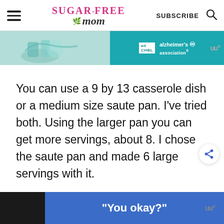Sugar-Free Mom | SUBSCRIBE
[Figure (screenshot): Advertisement banner for Alzheimer's Association with teal background and illustrated hands]
You can use a 9 by 13 casserole dish or a medium size saute pan. I've tried both. Using the larger pan you can get more servings, about 8. I chose the saute pan and made 6 large servings with it.
[Figure (screenshot): Bottom advertisement banner with dark background and blue section showing text: "You okay?"]